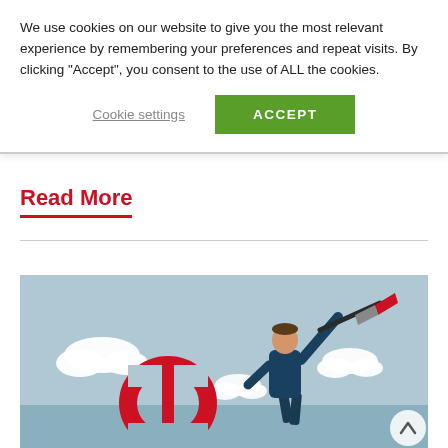We use cookies on our website to give you the most relevant experience by remembering your preferences and repeat visits. By clicking “Accept”, you consent to the use of ALL the cookies.
Cookie settings
ACCEPT
Read More
[Figure (illustration): Illustration of a businessman in a dark suit swinging a pickaxe at a red dollar sign symbol, set against a light blue sky background with white clouds.]